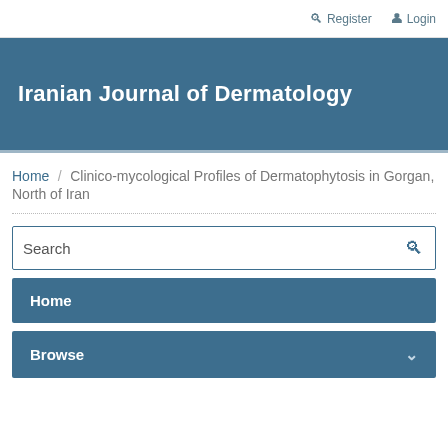Register  Login
Iranian Journal of Dermatology
Home / Clinico-mycological Profiles of Dermatophytosis in Gorgan, North of Iran
Search
Home
Browse